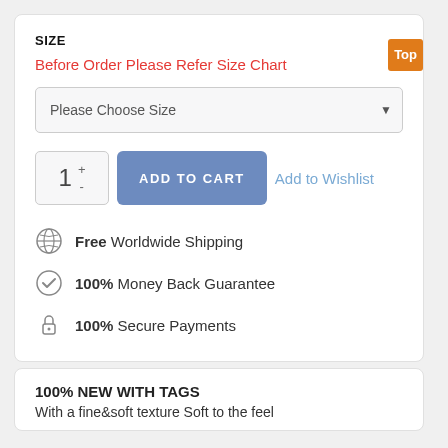SIZE
Before Order Please Refer Size Chart
Please Choose Size
1  +  -  ADD TO CART  Add to Wishlist
Free Worldwide Shipping
100% Money Back Guarantee
100% Secure Payments
100% NEW WITH TAGS
With a fine&soft texture Soft to the feel